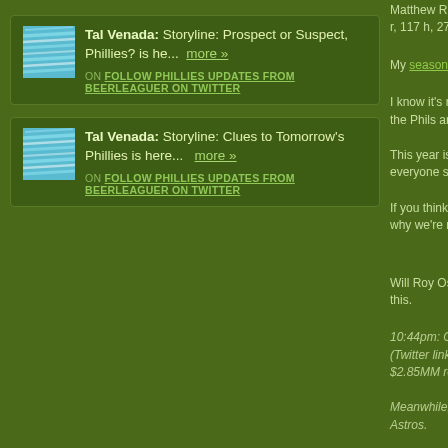Tal Venada: Storyline: Prospect or Suspect, Phillies? is he... more » ON FOLLOW PHILLIES UPDATES FROM BEERLEAGUER ON TWITTER
Tal Venada: Storyline: Clues to Tomorrow's Phillies is here... more » ON FOLLOW PHILLIES UPDATES FROM BEERLEAGUER ON TWITTER
Matthew Rizzo r, 117 h, 27 2b.
My season ove
I know it's not a the Phils are inv
This year is pro everyone stays
If you think abo why we're not c
Will Roy Oswal this.
10:44pm: Olney (Twitter link). Th $2.85MM rema
Meanwhile, Pric Astros.